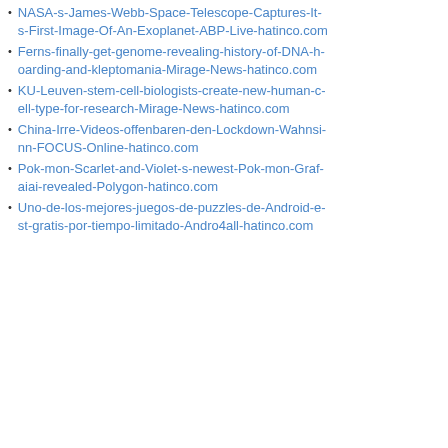NASA-s-James-Webb-Space-Telescope-Captures-Its-First-Image-Of-An-Exoplanet-ABP-Live-hatinco.com
Ferns-finally-get-genome-revealing-history-of-DNA-hoarding-and-kleptomania-Mirage-News-hatinco.com
KU-Leuven-stem-cell-biologists-create-new-human-cell-type-for-research-Mirage-News-hatinco.com
China-Irre-Videos-offenbaren-den-Lockdown-Wahnsinn-FOCUS-Online-hatinco.com
Pok-mon-Scarlet-and-Violet-s-newest-Pok-mon-Grafaiai-revealed-Polygon-hatinco.com
Uno-de-los-mejores-juegos-de-puzzles-de-Android-est-gratis-por-tiempo-limitado-Andro4all-hatinco.com